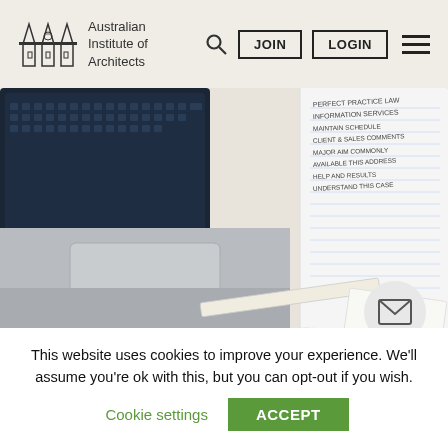Australian Institute of Architects
[Figure (screenshot): Website screenshot showing Australian Institute of Architects header with logo, search icon, JOIN and LOGIN buttons, and hamburger menu. Below is a hero photo of a laptop, open notebook with handwritten notes, ruler, and papers on a white desk.]
This website uses cookies to improve your experience. We'll assume you're ok with this, but you can opt-out if you wish.
Cookie settings   ACCEPT